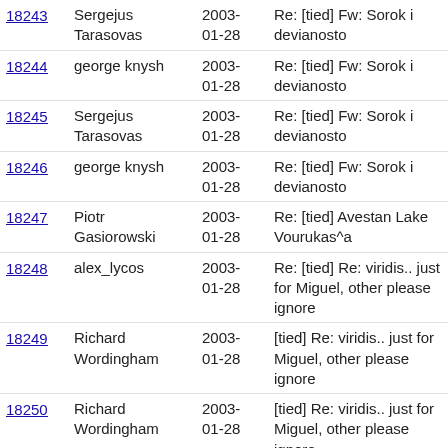| ID | Author | Date | Subject |
| --- | --- | --- | --- |
| 18243 | Sergejus Tarasovas | 2003-01-28 | Re: [tied] Fw: Sorok i devianosto |
| 18244 | george knysh | 2003-01-28 | Re: [tied] Fw: Sorok i devianosto |
| 18245 | Sergejus Tarasovas | 2003-01-28 | Re: [tied] Fw: Sorok i devianosto |
| 18246 | george knysh | 2003-01-28 | Re: [tied] Fw: Sorok i devianosto |
| 18247 | Piotr Gasiorowski | 2003-01-28 | Re: [tied] Avestan Lake Vourukas^a |
| 18248 | alex_lycos | 2003-01-28 | Re: [tied] Re: viridis.. just for Miguel, other please ignore |
| 18249 | Richard Wordingham | 2003-01-28 | [tied] Re: viridis.. just for Miguel, other please ignore |
| 18250 | Richard Wordingham | 2003-01-28 | [tied] Re: viridis.. just for Miguel, other please ignore |
| 18251 | alex_lycos | 2003-01-28 | Re: [tied] Re: viridis.. just for Miguel, other please ignore |
| 18252 | Piotr Gasiorowski | 2003-01-28 | Re: [tied] Laryngeal theory as an unnatural |
| 18253 | m_iacomi | 2003-01-28 | [tied] Re: viridis.. just for Miguel, other please ignore |